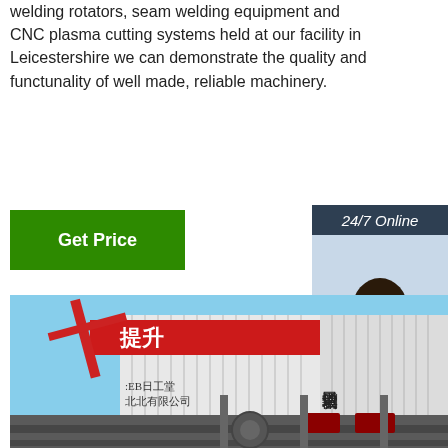welding rotators, seam welding equipment and CNC plasma cutting systems held at our facility in Leicestershire we can demonstrate the quality and functunality of well made, reliable machinery.
[Figure (other): Green 'Get Price' button]
[Figure (other): Sidebar with '24/7 Online' header, smiling woman with headset, 'Click here for free chat!' text, and orange QUOTATION button]
[Figure (photo): Industrial facility with Chinese text banners on corrugated metal containers/structures, heavy equipment visible in foreground and background, blue sky]